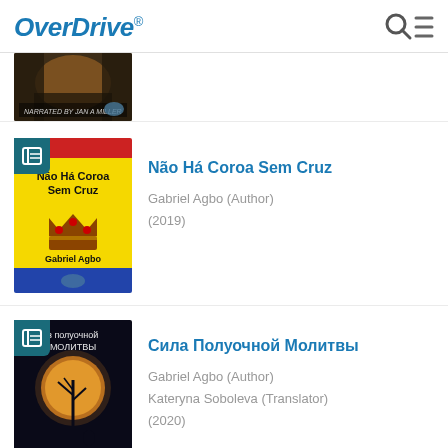OverDrive
[Figure (screenshot): Partial book cover visible at top of list, showing a dark architectural/nature scene with text 'Narrated by Jan A Miller']
[Figure (screenshot): Book cover for 'Não Há Coroa Sem Cruz' by Gabriel Agbo — yellow background with red stripe at top, crown illustration, author name at bottom]
Não Há Coroa Sem Cruz
Gabriel Agbo (Author)
(2019)
[Figure (screenshot): Book cover for 'Сила Полуочной Молитвы' — dark background with moon and silhouette of tree and person]
Сила Полуочной Молитвы
Gabriel Agbo (Author)
Kateryna Soboleva (Translator)
(2020)